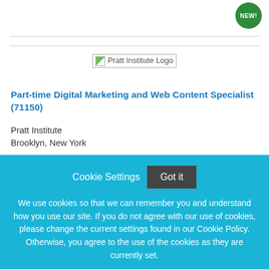[Figure (logo): Pratt Institute Logo placeholder image]
Part-time Digital Marketing and Web Content Specialist (71150)
Pratt Institute
Brooklyn, New York
Cookie Settings
Got it
We use cookies so that we can remember you and understand how you use our site. If you do not agree with our use of cookies, please change the current settings found in our Cookie Policy. Otherwise, you agree to the use of the cookies as they are currently set.